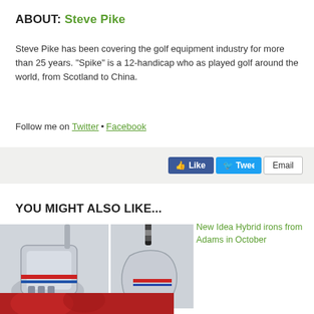ABOUT: Steve Pike
Steve Pike has been covering the golf equipment industry for more than 25 years. "Spike" is a 12-handicap who as played golf around the world, from Scotland to China.
Follow me on Twitter • Facebook
[Figure (screenshot): Social sharing bar with Like, Tweet, and Email buttons]
YOU MIGHT ALSO LIKE...
[Figure (photo): Two golf irons (hybrid clubs) shown side by side against light background]
New Idea Hybrid irons from Adams in October
[Figure (photo): Partial photo of a person in red clothing, cropped at bottom of page]